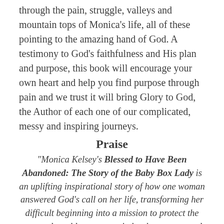through the pain, struggle, valleys and mountain tops of Monica's life, all of these pointing to the amazing hand of God. A testimony to God's faithfulness and His plan and purpose, this book will encourage your own heart and help you find purpose through pain and we trust it will bring Glory to God, the Author of each one of our complicated, messy and inspiring journeys.
Praise
“Monica Kelsey’s Blessed to Have Been Abandoned: The Story of the Baby Box Lady is an uplifting inspirational story of how one woman answered God’s call on her life, transforming her difficult beginning into a mission to protect the most vulnerable among us in her home state and beyond. It’s exactly the kind of story we need. Highly recommended!” -J.J. Hebert, #1 bestselling author